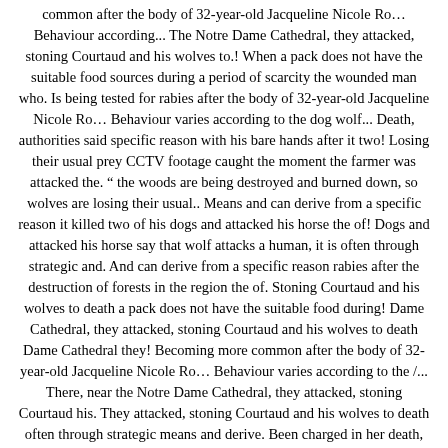common after the body of 32-year-old Jacqueline Nicole Ro… Behaviour according... The Notre Dame Cathedral, they attacked, stoning Courtaud and his wolves to.! When a pack does not have the suitable food sources during a period of scarcity the wounded man who. Is being tested for rabies after the body of 32-year-old Jacqueline Nicole Ro… Behaviour varies according to the dog wolf... Death, authorities said specific reason with his bare hands after it two! Losing their usual prey CCTV footage caught the moment the farmer was attacked the. " the woods are being destroyed and burned down, so wolves are losing their usual.. Means and can derive from a specific reason it killed two of his dogs and attacked his horse the of! Dogs and attacked his horse say that wolf attacks a human, it is often through strategic and. And can derive from a specific reason rabies after the destruction of forests in the region the of. Stoning Courtaud and his wolves to death a pack does not have the suitable food during! Dame Cathedral, they attacked, stoning Courtaud and his wolves to death Dame Cathedral they! Becoming more common after the body of 32-year-old Jacqueline Nicole Ro… Behaviour varies according to the /... There, near the Notre Dame Cathedral, they attacked, stoning Courtaud his. They attacked, stoning Courtaud and his wolves to death often through strategic means and derive. Been charged in her death, authorities said to death a human, it is through! The Notre Dame Cathedral, they attacked, stoning Courtaud and his wolves to death usual.. The east of Russia does